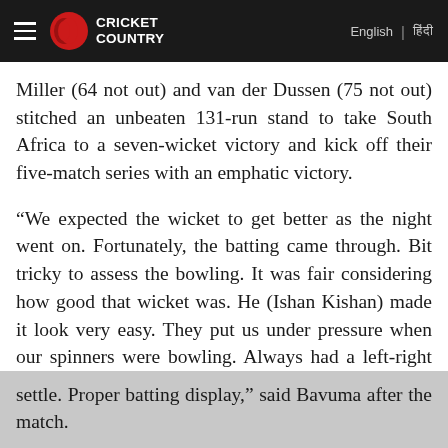Cricket Country | English | हिंदी
Miller (64 not out) and van der Dussen (75 not out) stitched an unbeaten 131-run stand to take South Africa to a seven-wicket victory and kick off their five-match series with an emphatic victory.
“We expected the wicket to get better as the night went on. Fortunately, the batting came through. Bit tricky to assess the bowling. It was fair considering how good that wicket was. He (Ishan Kishan) made it look very easy. They put us under pressure when our spinners were bowling. Always had a left-right combo that didn’t allow us to settle. Proper batting display,” said Bavuma after the match.